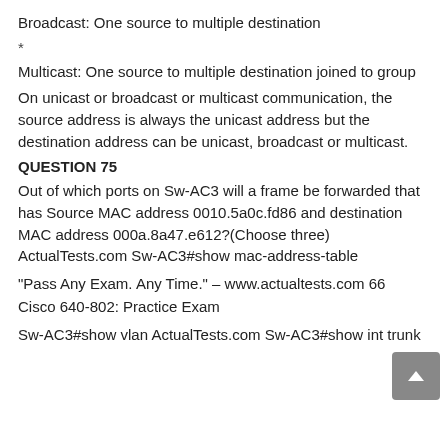Broadcast: One source to multiple destination
*
Multicast: One source to multiple destination joined to group
On unicast or broadcast or multicast communication, the source address is always the unicast address but the destination address can be unicast, broadcast or multicast.
QUESTION 75
Out of which ports on Sw-AC3 will a frame be forwarded that has Source MAC address 0010.5a0c.fd86 and destination MAC address 000a.8a47.e612?(Choose three) ActualTests.com Sw-AC3#show mac-address-table
"Pass Any Exam. Any Time." – www.actualtests.com 66
Cisco 640-802: Practice Exam
Sw-AC3#show vlan ActualTests.com Sw-AC3#show int trunk